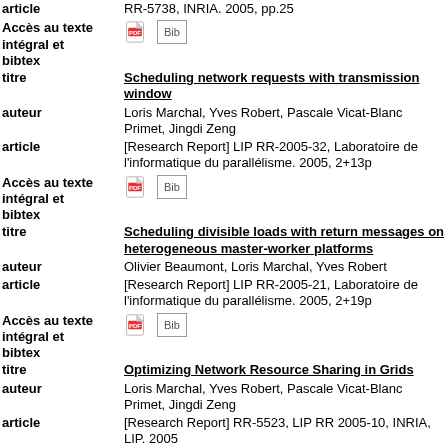article: RR-5738, INRIA. 2005, pp.25
Accès au texte intégral et bibtex [icons]
titre: Scheduling network requests with transmission window
auteur: Loris Marchal, Yves Robert, Pascale Vicat-Blanc Primet, Jingdi Zeng
article: [Research Report] LIP RR-2005-32, Laboratoire de l'informatique du parallélisme. 2005, 2+13p
Accès au texte intégral et bibtex [icons]
titre: Scheduling divisible loads with return messages on heterogeneous master-worker platforms
auteur: Olivier Beaumont, Loris Marchal, Yves Robert
article: [Research Report] LIP RR-2005-21, Laboratoire de l'informatique du parallélisme. 2005, 2+19p
Accès au texte intégral et bibtex [icons]
titre: Optimizing Network Resource Sharing in Grids
auteur: Loris Marchal, Yves Robert, Pascale Vicat-Blanc Primet, Jingdi Zeng
article: [Research Report] RR-5523, LIP RR 2005-10, INRIA, LIP. 2005
Accès au texte intégral et bibtex [icons]